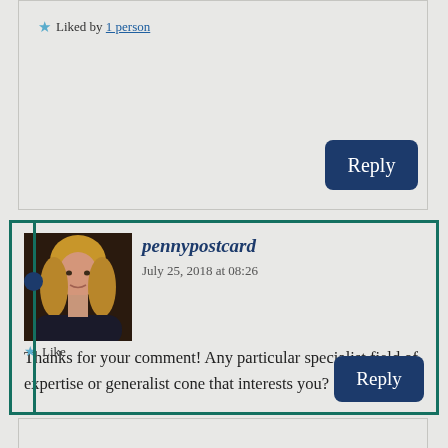★ Liked by 1 person
Reply
[Figure (photo): Profile photo of a young woman with long blonde hair in a dark setting]
pennypostcard
July 25, 2018 at 08:26
Thanks for your comment! Any particular specialist field of expertise or generalist cone that interests you?
★ Like
Reply